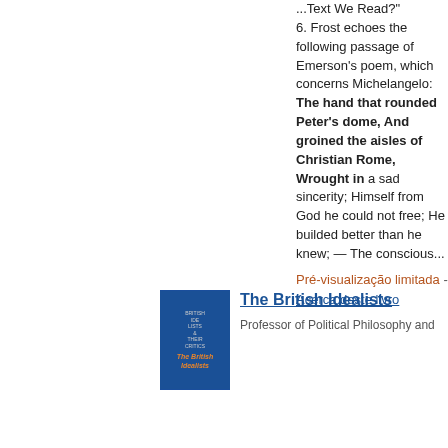...Text We Read?" 6. Frost echoes the following passage of Emerson's poem, which concerns Michelangelo: The hand that rounded Peter's dome, And groined the aisles of Christian Rome, Wrought in a sad sincerity; Himself from God he could not free; He builded better than he knew; — The conscious...
Pré-visualização limitada - Acerca deste livro
[Figure (illustration): Book cover of 'The British Idealists' — dark blue cover with orange italic title text]
The British Idealists
Professor of Political Philosophy and